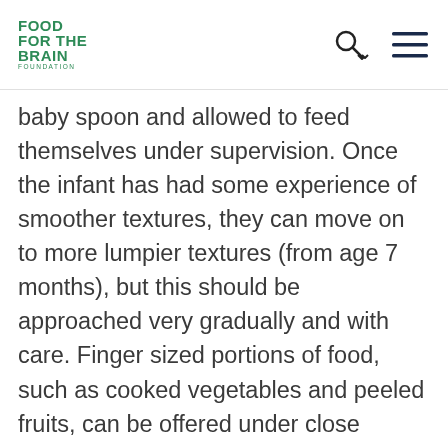FOOD FOR THE BRAIN FOUNDATION
baby spoon and allowed to feed themselves under supervision. Once the infant has had some experience of smoother textures, they can move on to more lumpier textures (from age 7 months), but this should be approached very gradually and with care. Finger sized portions of food, such as cooked vegetables and peeled fruits, can be offered under close supervision to prevent choking.
Protein foods such as meat, fish, chickpeas, beans and lentils can also be introduced from 6 months. These can be